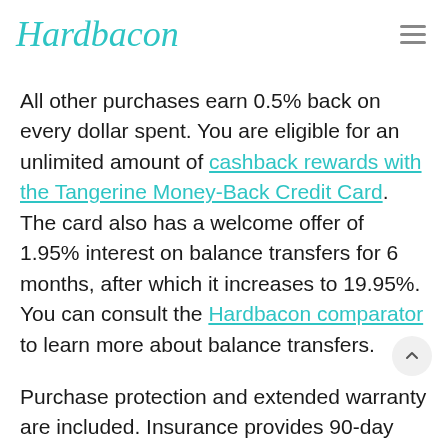Hardbacon
All other purchases earn 0.5% back on every dollar spent. You are eligible for an unlimited amount of cashback rewards with the Tangerine Money-Back Credit Card. The card also has a welcome offer of 1.95% interest on balance transfers for 6 months, after which it increases to 19.95%. You can consult the Hardbacon comparator to learn more about balance transfers.
Purchase protection and extended warranty are included. Insurance provides 90-day protection on all items that have been stolen, lost or damaged. The